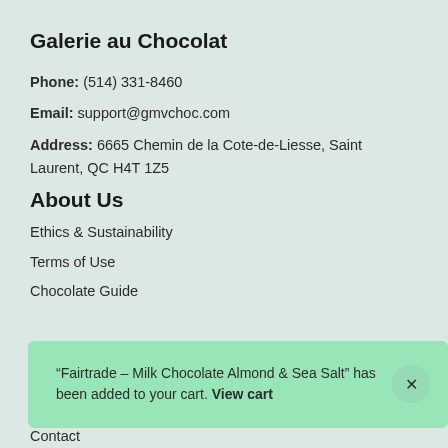Galerie au Chocolat
Phone: (514) 331-8460
Email: support@gmvchoc.com
Address: 6665 Chemin de la Cote-de-Liesse, Saint Laurent, QC H4T 1Z5
About Us
Ethics & Sustainability
Terms of Use
Chocolate Guide
“Fairtrade – Milk Chocolate Almond & Sea Salt” has been added to your cart. View cart
Contact